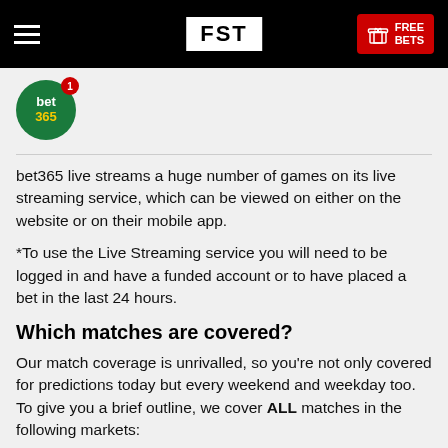FST | FREE BETS
[Figure (logo): bet365 circular green logo with red notification badge showing number 1]
bet365 live streams a huge number of games on its live streaming service, which can be viewed on either on the website or on their mobile app.
*To use the Live Streaming service you will need to be logged in and have a funded account or to have placed a bet in the last 24 hours.
Which matches are covered?
Our match coverage is unrivalled, so you’re not only covered for predictions today but every weekend and weekday too. To give you a brief outline, we cover ALL matches in the following markets: